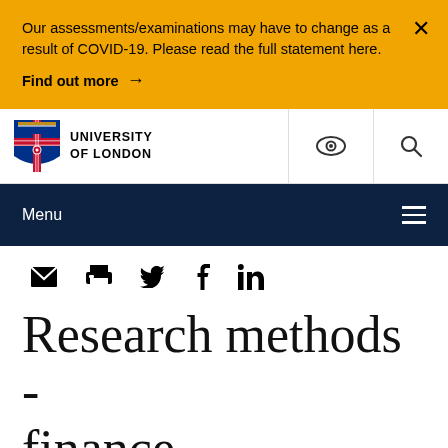Our assessments/examinations may have to change as a result of COVID-19. Please read the full statement here.
Find out more →
[Figure (logo): University of London shield logo with text UNIVERSITY OF LONDON]
Menu
[Figure (infographic): Social sharing icons: email, print, Twitter, Facebook, LinkedIn]
Research methods - finance